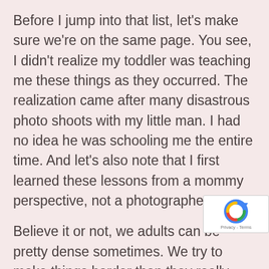Before I jump into that list, let's make sure we're on the same page. You see, I didn't realize my toddler was teaching me these things as they occurred. The realization came after many disastrous photo shoots with my little man. I had no idea he was schooling me the entire time. And let's also note that I first learned these lessons from a mommy perspective, not a photographer's.
Believe it or not, we adults can be pretty dense sometimes. We try to make things harder than they really are. We often set our expectations WAY too high when it comes to our kids. So was quite a while before I realized my "Luca [truncated]